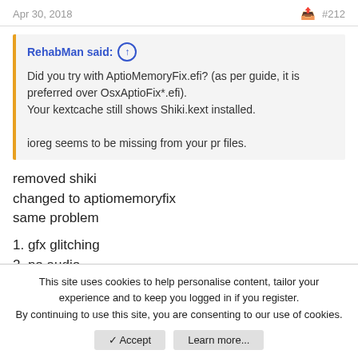Apr 30, 2018  #212
RehabMan said: ↑

Did you try with AptioMemoryFix.efi? (as per guide, it is preferred over OsxAptioFix*.efi).
Your kextcache still shows Shiki.kext installed.

ioreg seems to be missing from your pr files.
removed shiki
changed to aptiomemoryfix
same problem
1. gfx glitching
2. no audio
Attachments
This site uses cookies to help personalise content, tailor your experience and to keep you logged in if you register.
By continuing to use this site, you are consenting to our use of cookies.